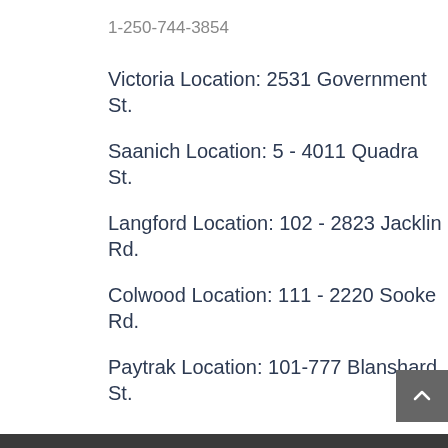1-250-744-3854
Victoria Location: 2531 Government St.
Saanich Location: 5 - 4011 Quadra St.
Langford Location: 102 - 2823 Jacklin Rd.
Colwood Location: 111 - 2220 Sooke Rd.
Paytrak Location: 101-777 Blanshard St.
MEDIA
[Figure (screenshot): Video thumbnail showing Padgett logo and title 'Counting Beans with...' with a three-dot menu icon]